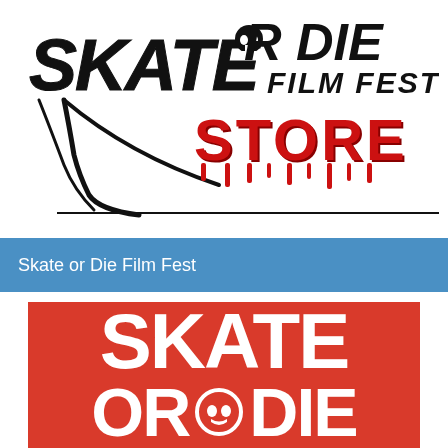[Figure (logo): Skate or Die Film Fest Store logo — hand-drawn black graffiti/horror-style lettering 'SKATE OR DIE FILM FEST' with a skull icon, and below it the word 'STORE' in dripping red horror letters]
Skate or Die Film Fest
[Figure (logo): Red banner with large bold white block letters reading 'SKATE' on first line and 'OR DIE' on second line with a skull circle icon, partially cropped at bottom]